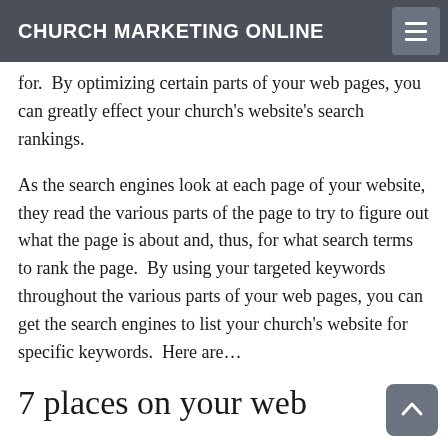CHURCH MARKETING ONLINE
for.  By optimizing certain parts of your web pages, you can greatly effect your church’s website’s search rankings.
As the search engines look at each page of your website, they read the various parts of the page to try to figure out what the page is about and, thus, for what search terms to rank the page.  By using your targeted keywords throughout the various parts of your web pages, you can get the search engines to list your church’s website for specific keywords.  Here are…
7 places on your web